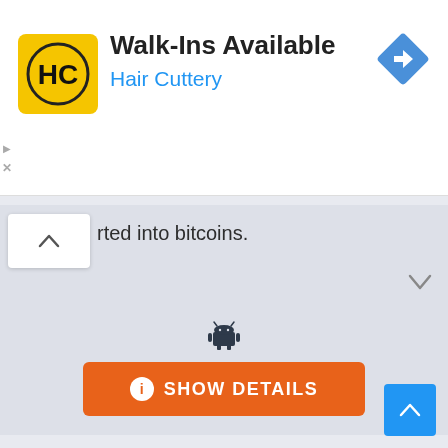[Figure (screenshot): Mobile advertisement banner for Hair Cuttery showing Walk-Ins Available text with yellow HC logo and blue navigation arrow icon]
rted into bitcoins.
[Figure (screenshot): Android robot icon]
[Figure (screenshot): Orange SHOW DETAILS button with info icon]
ADVERTISEMENT
[Figure (screenshot): Blue scroll-to-top button with upward chevron arrow]